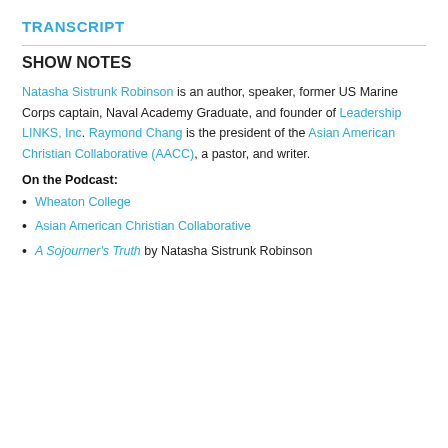TRANSCRIPT
SHOW NOTES
Natasha Sistrunk Robinson is an author, speaker, former US Marine Corps captain, Naval Academy Graduate, and founder of Leadership LINKS, Inc. Raymond Chang is the president of the Asian American Christian Collaborative (AACC), a pastor, and writer.
On the Podcast:
Wheaton College
Asian American Christian Collaborative
A Sojourner's Truth by Natasha Sistrunk Robinson